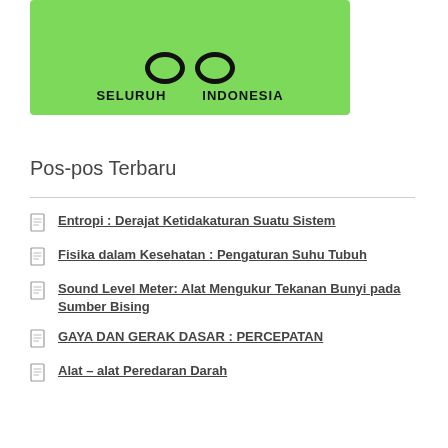[Figure (logo): Green banner with two circular eye shapes and text SELURUH INDONESIA]
Pos-pos Terbaru
Entropi : Derajat Ketidakaturan Suatu Sistem
Fisika dalam Kesehatan : Pengaturan Suhu Tubuh
Sound Level Meter: Alat Mengukur Tekanan Bunyi pada Sumber Bising
GAYA DAN GERAK DASAR : PERCEPATAN
Alat – alat Peredaran Darah